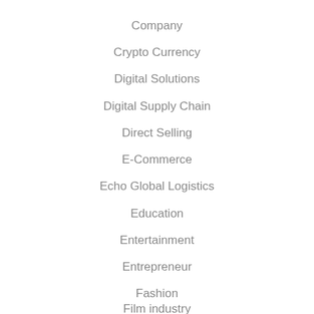Company
Crypto Currency
Digital Solutions
Digital Supply Chain
Direct Selling
E-Commerce
Echo Global Logistics
Education
Entertainment
Entrepreneur
Fashion
Film industry